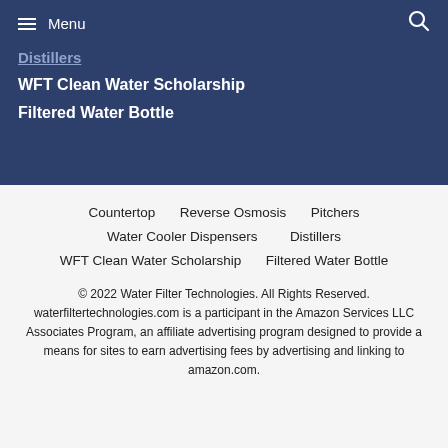Menu
Distillers
WFT Clean Water Scholarship
Filtered Water Bottle
Countertop
Reverse Osmosis
Pitchers
Water Cooler Dispensers
Distillers
WFT Clean Water Scholarship
Filtered Water Bottle
© 2022 Water Filter Technologies. All Rights Reserved. waterfiltertechnologies.com is a participant in the Amazon Services LLC Associates Program, an affiliate advertising program designed to provide a means for sites to earn advertising fees by advertising and linking to amazon.com.